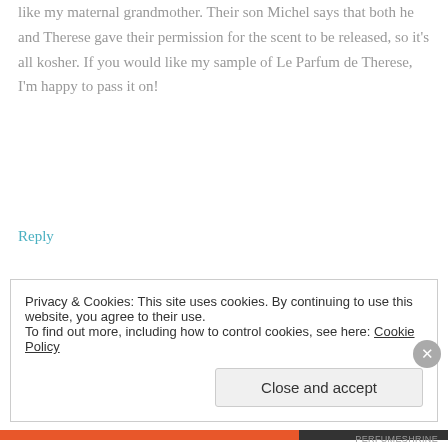like my maternal grandmother. Their son Michel says that both he and Therese gave their permission for the scent to be released, so it's all kosher. If you would like my sample of Le Parfum de Therese, I'm happy to pass it on!
Reply
Thérèse
JANUARY 21, 2012 AT 8:07 PM
Privacy & Cookies: This site uses cookies. By continuing to use this website, you agree to their use. To find out more, including how to control cookies, see here: Cookie Policy
Close and accept